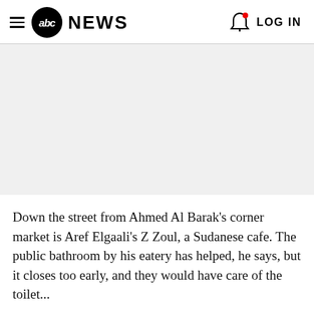abc NEWS  LOG IN
[Figure (photo): Placeholder image area, white/light gray background]
Down the street from Ahmed Al Barak's corner market is Aref Elgaali's Z Zoul, a Sudanese cafe. The public bathroom by his eatery has helped, he says, but it closes too early, and they should have care of the toilet...